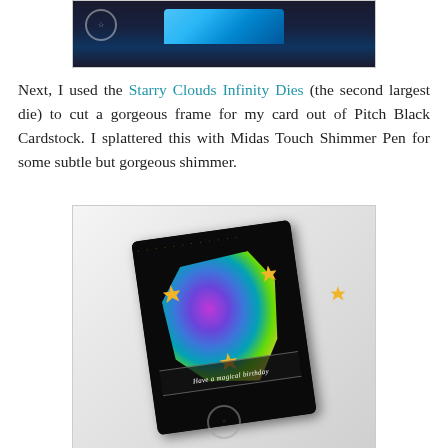[Figure (photo): Top portion of a craft card showing a black background with blue galaxy/starry sky effect visible at top]
Next, I used the Starry Clouds Infinity Dies (the second largest die) to cut a gorgeous frame for my card out of Pitch Black Cardstock. I splattered this with Midas Touch Shimmer Pen for some subtle but gorgeous shimmer.
[Figure (photo): A handmade birthday card angled on a white marble surface. The card has a black background with a galaxy-style colorful center cut by a die, featuring gold fairy/tinkerbell die cuts and the text 'Have a magical birthday' on a banner.]